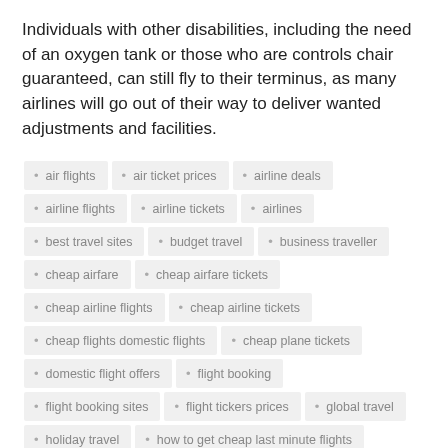Individuals with other disabilities, including the need of an oxygen tank or those who are controls chair guaranteed, can still fly to their terminus, as many airlines will go out of their way to deliver wanted adjustments and facilities.
air flights
air ticket prices
airline deals
airline flights
airline tickets
airlines
best travel sites
budget travel
business traveller
cheap airfare
cheap airfare tickets
cheap airline flights
cheap airline tickets
cheap flights domestic flights
cheap plane tickets
domestic flight offers
flight booking
flight booking sites
flight tickers prices
global travel
holiday travel
how to get cheap last minute flights